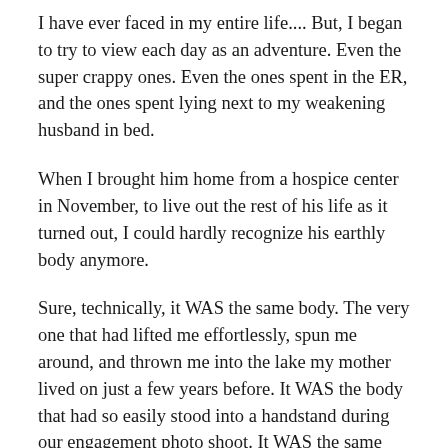I have ever faced in my entire life.... But, I began to try to view each day as an adventure. Even the super crappy ones. Even the ones spent in the ER, and the ones spent lying next to my weakening husband in bed.
When I brought him home from a hospice center in November, to live out the rest of his life as it turned out, I could hardly recognize his earthly body anymore.
Sure, technically, it WAS the same body. The very one that had lifted me effortlessly, spun me around, and thrown me into the lake my mother lived on just a few years before. It WAS the body that had so easily stood into a handstand during our engagement photo shoot. It WAS the same body that fathered our child, but it looked different now.